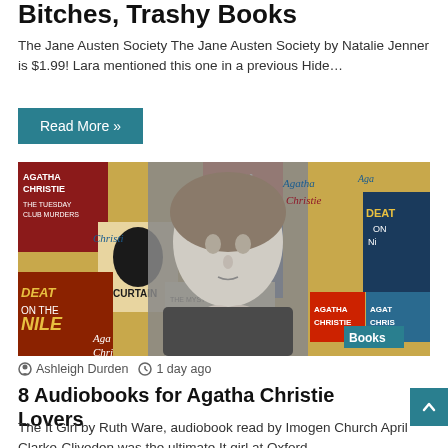Bitches, Trashy Books
The Jane Austen Society The Jane Austen Society by Natalie Jenner is $1.99! Lara mentioned this one in a previous Hide...
Read More »
[Figure (photo): Agatha Christie black and white portrait photo surrounded by colorful Agatha Christie book covers collage, with a 'Books' badge in the bottom right corner]
Ashleigh Durden  1 day ago
8 Audiobooks for Agatha Christie Lovers
The It Girl by Ruth Ware, audiobook read by Imogen Church April Clarke-Cliveden was the ultimate It girl at Oxford...